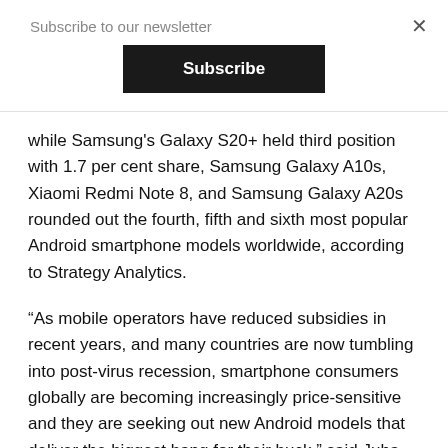Subscribe to our newsletter
Subscribe
while Samsung's Galaxy S20+ held third position with 1.7 per cent share, Samsung Galaxy A10s, Xiaomi Redmi Note 8, and Samsung Galaxy A20s rounded out the fourth, fifth and sixth most popular Android smartphone models worldwide, according to Strategy Analytics.
“As mobile operators have reduced subsidies in recent years, and many countries are now tumbling into post-virus recession, smartphone consumers globally are becoming increasingly price-sensitive and they are seeking out new Android models that deliver the biggest bang for their buck,” said Juha Winter, Associate Director at Strategy Analytics.